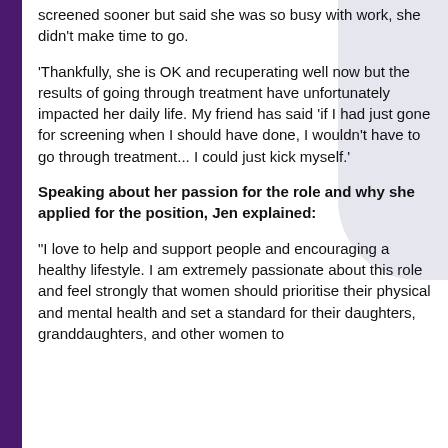... she should have been screened sooner but said she was so busy with work, she didn't make time to go.
'Thankfully, she is OK and recuperating well now but the results of going through treatment have unfortunately impacted her daily life. My friend has said 'if I had just gone for screening when I should have done, I wouldn't have to go through treatment... I could just kick myself.'
Speaking about her passion for the role and why she applied for the position, Jen explained:
"I love to help and support people and encouraging a healthy lifestyle. I am extremely passionate about this role and feel strongly that women should prioritise their physical and mental health and set a standard for their daughters, granddaughters, and other women to